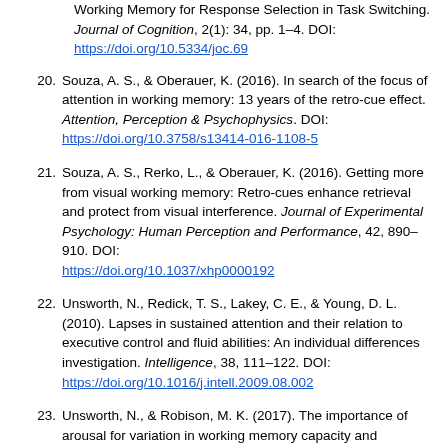Working Memory for Response Selection in Task Switching. Journal of Cognition, 2(1): 34, pp. 1–4. DOI: https://doi.org/10.5334/joc.69
20. Souza, A. S., & Oberauer, K. (2016). In search of the focus of attention in working memory: 13 years of the retro-cue effect. Attention, Perception & Psychophysics. DOI: https://doi.org/10.3758/s13414-016-1108-5
21. Souza, A. S., Rerko, L., & Oberauer, K. (2016). Getting more from visual working memory: Retro-cues enhance retrieval and protect from visual interference. Journal of Experimental Psychology: Human Perception and Performance, 42, 890–910. DOI: https://doi.org/10.1037/xhp0000192
22. Unsworth, N., Redick, T. S., Lakey, C. E., & Young, D. L. (2010). Lapses in sustained attention and their relation to executive control and fluid abilities: An individual differences investigation. Intelligence, 38, 111–122. DOI: https://doi.org/10.1016/j.intell.2009.08.002
23. Unsworth, N., & Robison, M. K. (2017). The importance of arousal for variation in working memory capacity and attention control: A latent variable pupillometry study. Journal of Experimental Psychology: Learning, Memory,